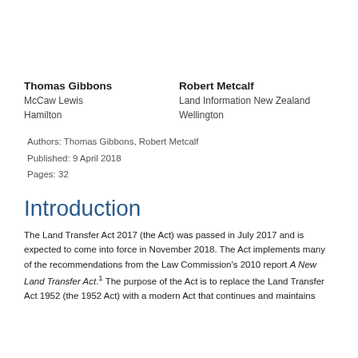Thomas Gibbons
McCaw Lewis
Hamilton
Robert Metcalf
Land Information New Zealand
Wellington
Authors: Thomas Gibbons, Robert Metcalf
Published: 9 April 2018
Pages: 32
Introduction
The Land Transfer Act 2017 (the Act) was passed in July 2017 and is expected to come into force in November 2018. The Act implements many of the recommendations from the Law Commission's 2010 report A New Land Transfer Act.1 The purpose of the Act is to replace the Land Transfer Act 1952 (the 1952 Act) with a modern Act that continues and maintains